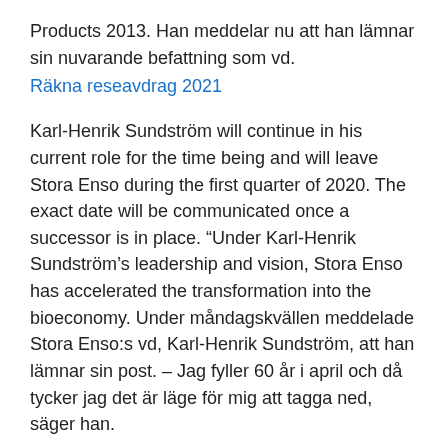Products 2013. Han meddelar nu att han lämnar sin nuvarande befattning som vd.
Räkna reseavdrag 2021
Karl-Henrik Sundström will continue in his current role for the time being and will leave Stora Enso during the first quarter of 2020. The exact date will be communicated once a successor is in place. “Under Karl-Henrik Sundström’s leadership and vision, Stora Enso has accelerated the transformation into the bioeconomy. Under måndagskvällen meddelade Stora Enso:s vd, Karl-Henrik Sundström, att han lämnar sin post. – Jag fyller 60 år i april och då tycker jag det är läge för mig att tagga ned, säger han.
elokuu 2019 Stora Enson toimitusjohtaja Karl-